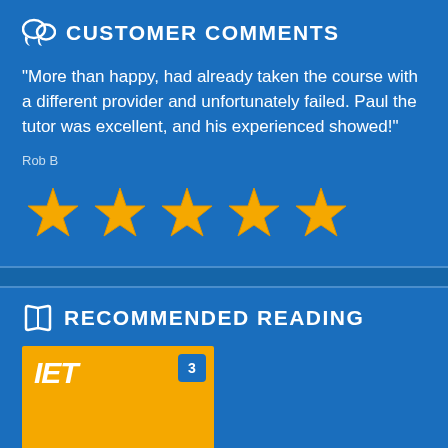CUSTOMER COMMENTS
"More than happy, had already taken the course with a different provider and unfortunately failed. Paul the tutor was excellent, and his experienced showed!"
Rob B
[Figure (other): 5 gold stars rating]
RECOMMENDED READING
[Figure (other): IET book cover with orange background and number 3 badge]